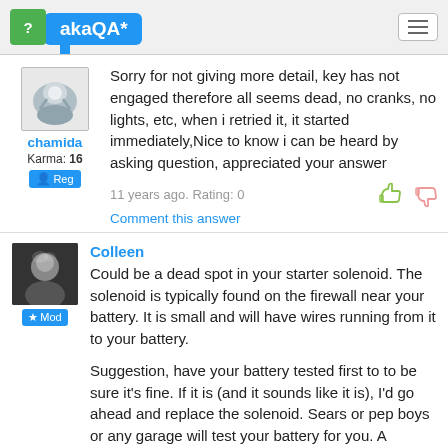akaQA*
Sorry for not giving more detail, key has not engaged therefore all seems dead, no cranks, no lights, etc, when i retried it, it started immediately,Nice to know i can be heard by asking question, appreciated your answer
11 years ago. Rating: 0
Comment this answer
Colleen
Could be a dead spot in your starter solenoid. The solenoid is typically found on the firewall near your battery. It is small and will have wires running from it to your battery.
Suggestion, have your battery tested first to to be sure it's fine. If it is (and it sounds like it is), I'd go ahead and replace the solenoid. Sears or pep boys or any garage will test your battery for you. A solenoid is not expensive and pretty